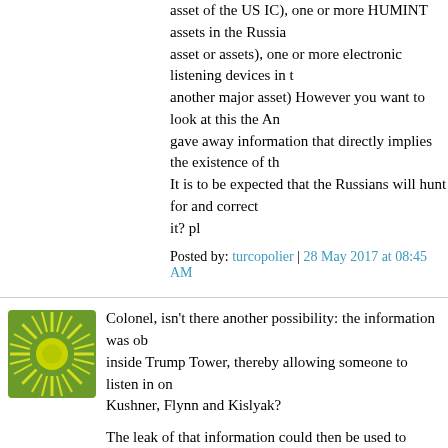asset of the US IC), one or more HUMINT assets in the Russian asset or assets), one or more electronic listening devices in the another major asset) However you want to look at this the Am gave away information that directly implies the existence of th It is to be expected that the Russians will hunt for and correct it? pl
Posted by: turcopolier | 28 May 2017 at 08:45 AM
[Figure (illustration): Sun/starburst logo icon - circular green/yellow sun with rays on green background]
Colonel, isn't there another possibility: the information was ob inside Trump Tower, thereby allowing someone to listen in on Kushner, Flynn and Kislyak?
The leak of that information could then be used to embarrass "news" about the information being obtained from decrypted may simply be a cover story intended to disguise the illegal m
After all, which is more difficult:
a) decrypting secure diplomatic communications
b) sneaking into Trump Tower and planting a bug
Just a thought....
Posted by: Yeah, Right | 28 May 2017 at 08:56 AM